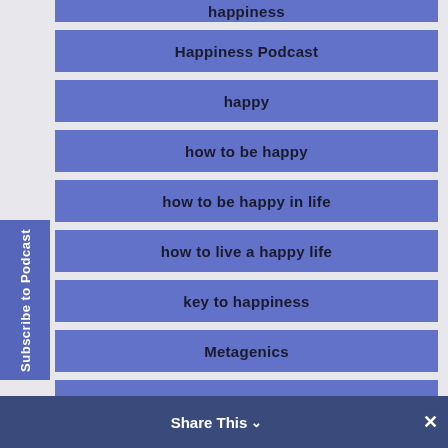happiness
Happiness Podcast
happy
how to be happy
how to be happy in life
how to live a happy life
key to happiness
Metagenics
Music by Kevin MacLeod
Mycotaki
Subscribe to Podcast
Share This  ∨   ✕
peace